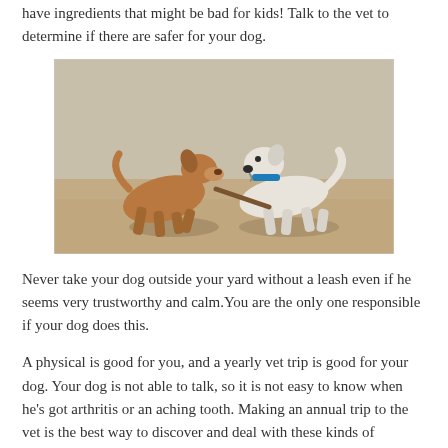have ingredients that might be bad for kids! Talk to the vet to determine if there are safer for your dog.
[Figure (photo): Two dogs playing on a sandy beach — a brown dog and a white dog with a blue collar, both running and interacting.]
Never take your dog outside your yard without a leash even if he seems very trustworthy and calm.You are the only one responsible if your dog does this.
A physical is good for you, and a yearly vet trip is good for your dog. Your dog is not able to talk, so it is not easy to know when he's got arthritis or an aching tooth. Making an annual trip to the vet is the best way to discover and deal with these kinds of problems when they're still manageable.